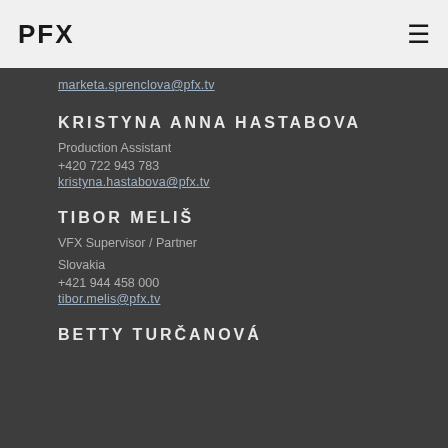PFX
marketa.sprenclova@pfx.tv
KRISTYNA ANNA HASTABOVA
Production Assistant
+420 722 943 783
kristyna.hastabova@pfx.tv
TIBOR MELIŠ
VFX Supervisor / Partner
Slovakia
+421 944 458 000
tibor.melis@pfx.tv
BETTY TURČANOVÁ